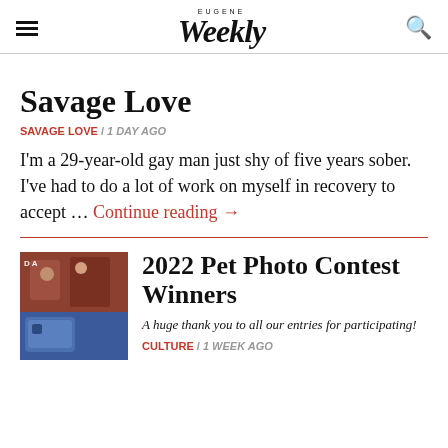EUGENE Weekly
Savage Love
SAVAGE LOVE / 1 DAY AGO
I'm a 29-year-old gay man just shy of five years sober. I've had to do a lot of work on myself in recovery to accept … Continue reading →
[Figure (photo): Thumbnail photo of dogs, one wearing a blue tent costume and another in a red outfit, for the 2022 Pet Photo Contest Winners article]
2022 Pet Photo Contest Winners
A huge thank you to all our entries for participating!
CULTURE / 1 WEEK AGO